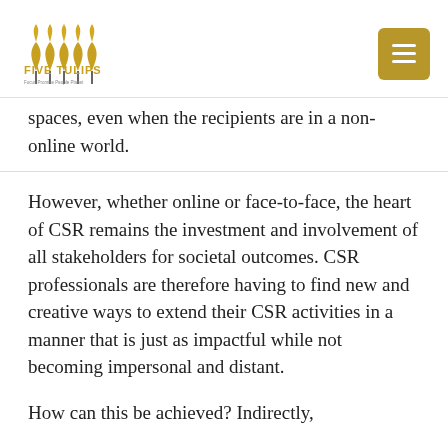Five Tulips — logo and menu
spaces, even when the recipients are in a non-online world.
However, whether online or face-to-face, the heart of CSR remains the investment and involvement of all stakeholders for societal outcomes. CSR professionals are therefore having to find new and creative ways to extend their CSR activities in a manner that is just as impactful while not becoming impersonal and distant.
How can this be achieved? Indirectly,